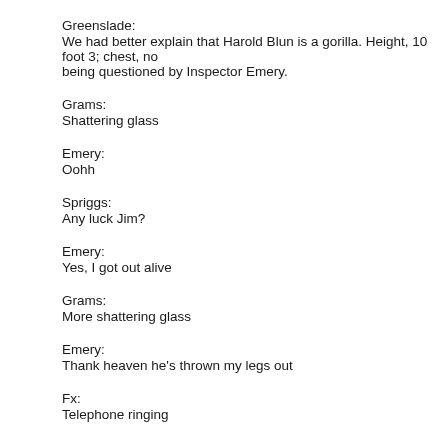Greenslade:
We had better explain that Harold Blun is a gorilla. Height, 10 foot 3; chest, no... being questioned by Inspector Emery.
Grams:
Shattering glass
Emery:
Oohh
Spriggs:
Any luck Jim?
Emery:
Yes, I got out alive
Grams:
More shattering glass
Emery:
Thank heaven he's thrown my legs out
Fx:
Telephone ringing